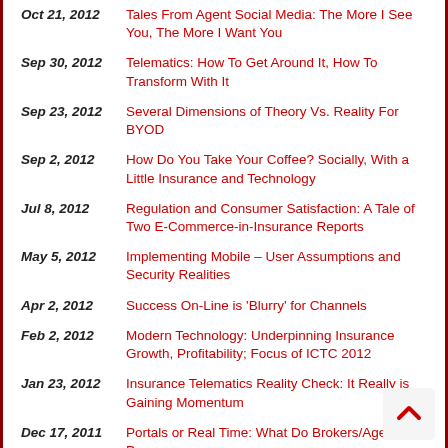Oct 21, 2012 — Tales From Agent Social Media: The More I See You, The More I Want You
Sep 30, 2012 — Telematics: How To Get Around It, How To Transform With It
Sep 23, 2012 — Several Dimensions of Theory Vs. Reality For BYOD
Sep 2, 2012 — How Do You Take Your Coffee? Socially, With a Little Insurance and Technology
Jul 8, 2012 — Regulation and Consumer Satisfaction: A Tale of Two E-Commerce-in-Insurance Reports
May 5, 2012 — Implementing Mobile – User Assumptions and Security Realities
Apr 2, 2012 — Success On-Line is 'Blurry' for Channels
Feb 2, 2012 — Modern Technology: Underpinning Insurance Growth, Profitability; Focus of ICTC 2012
Jan 23, 2012 — Insurance Telematics Reality Check: It Really is Gaining Momentum
Dec 17, 2011 — Portals or Real Time: What Do Brokers/Agents Pre…